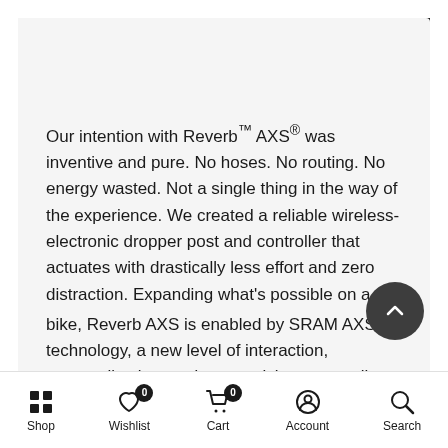Specifications
Our intention with Reverb™ AXS® was inventive and pure. No hoses. No routing. No energy wasted. Not a single thing in the way of the experience. We created a reliable wireless-electronic dropper post and controller that actuates with drastically less effort and zero distraction. Expanding what's possible on a bike, Reverb AXS is enabled by SRAM AXS™ technology, a new level of interaction, personalization, and connectivity across all AXS enabled components.
Shop  Wishlist  Cart  Account  Search